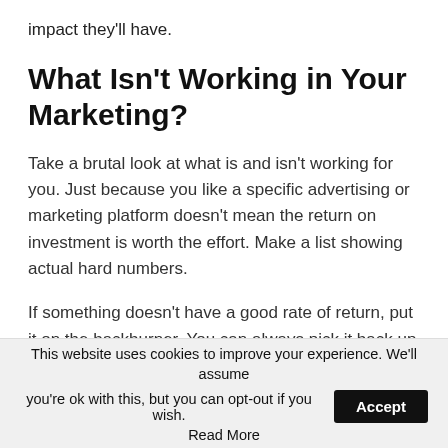impact they'll have.
What Isn't Working in Your Marketing?
Take a brutal look at what is and isn't working for you. Just because you like a specific advertising or marketing platform doesn't mean the return on investment is worth the effort. Make a list showing actual hard numbers.
If something doesn't have a good rate of return, put it on the backburner. You can always pick it back up again if needed. However, letting go of what isn't working
This website uses cookies to improve your experience. We'll assume you're ok with this, but you can opt-out if you wish. Accept
Read More